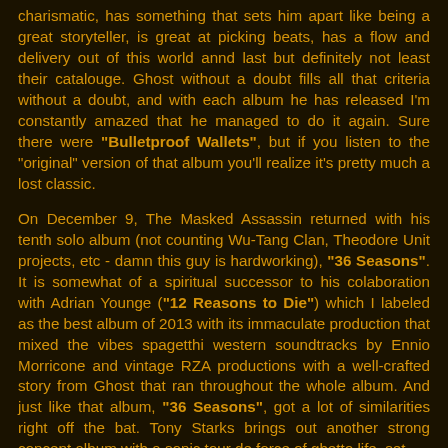charismatic, has something that sets him apart like being a great storyteller, is great at picking beats, has a flow and delivery out of this world annd last but definitely not least their catalouge. Ghost without a doubt fills all that criteria without a doubt, and with each album he has released I'm constantly amazed that he managed to do it again. Sure there were "Bulletproof Wallets", but if you listen to the "original" version of that album you'll realize it's pretty much a lost classic.
On December 9, The Masked Assassin returned with his tenth solo album (not counting Wu-Tang Clan, Theodore Unit projects, etc - damn this guy is hardworking), "36 Seasons". It is somewhat of a spiritual successor to his colaboration with Adrian Younge ("12 Reasons to Die") which I labeled as the best album of 2013 with its immaculate production that mixed the vibes spagetthi western soundtracks by Ennio Morricone and vintage RZA productions with a well-crafted story from Ghost that ran throughout the whole album. And just like that album, "36 Seasons", got a lot of similarities right off the bat. Tony Starks brings out another strong concept album with a sonic tour de force of ghetto life, set